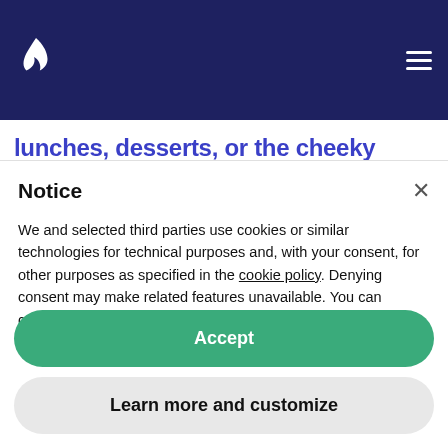Navigation header with flame logo and hamburger menu
lunches, desserts, or the cheeky Friday bottle shop for fun cocktail parties. We also work with caterers
Notice
We and selected third parties use cookies or similar technologies for technical purposes and, with your consent, for other purposes as specified in the cookie policy. Denying consent may make related features unavailable. You can consent to the use of such technologies by using the “Accept” button or by closing this notice.
Accept
Learn more and customize